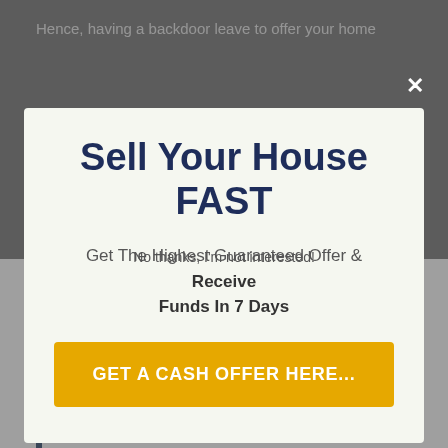Hence, having a backdoor leave to offer your home
Sell Your House FAST
Get The Highest Guaranteed Offer & Receive Funds In 7 Days
GET A CASH OFFER HERE...
No thanks, I'm not interested!
often hinged upon a residential property sale. Owners in this position need a fast and flexible residential or commercial property sale, which